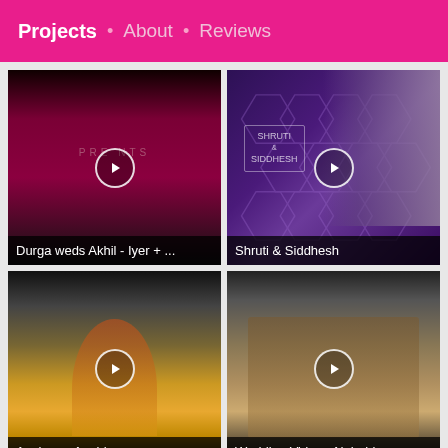Projects • About • Reviews
[Figure (screenshot): Video thumbnail for 'Durga weds Akhil - Iyer + ...' showing a dark maroon background with text 'PRESENTS' and a play button icon]
Durga weds Akhil - Iyer + ...
[Figure (screenshot): Video thumbnail for 'Shruti & Siddhesh' showing a purple hexagonal pattern background with a couple and a play button icon]
Shruti & Siddhesh
[Figure (screenshot): Video thumbnail for 'Aashay + Anubha' showing an outdoor dance scene with a woman in yellow lehenga and a play button icon]
Aashay + Anubha
[Figure (screenshot): Video thumbnail for 'Wedding Video - Nehabie' showing a wedding couple outdoors and a play button icon]
Wedding Video - Nehabie
₹ 2.5- 4 Lakh